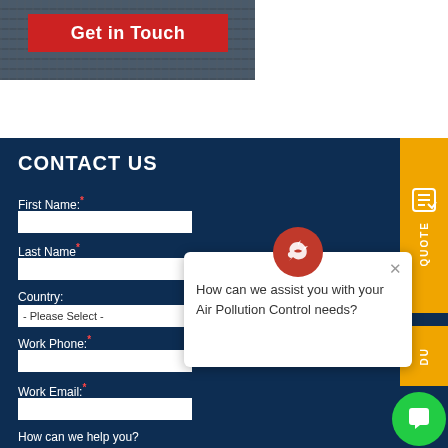[Figure (screenshot): Industrial facility background image with a red 'Get in Touch' button overlay]
CONTACT US
First Name:*
Last Name*
Country:
- Please Select -
Work Phone:*
Work Email:*
How can we help you?
[Figure (screenshot): Chat popup dialog with red recycling-style icon asking 'How can we assist you with your Air Pollution Control needs?']
[Figure (screenshot): Orange QUOTE sidebar button with icon]
[Figure (screenshot): Green chat button in bottom right corner]